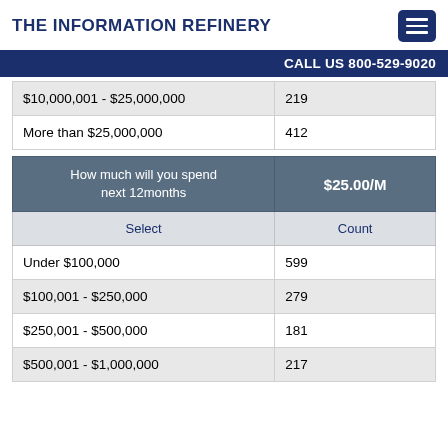THE INFORMATION REFINERY
CALL US 800-529-9020
| Select | Count |
| --- | --- |
| $10,000,001 - $25,000,000 | 219 |
| More than $25,000,000 | 412 |
| How much will you spend next 12months | $25.00/M |
| --- | --- |
| Select | Count |
| Under $100,000 | 599 |
| $100,001 - $250,000 | 279 |
| $250,001 - $500,000 | 181 |
| $500,001 - $1,000,000 | 217 |